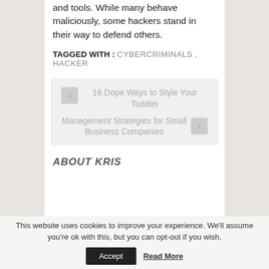and tools. While many behave maliciously, some hackers stand in their way to defend others.
TAGGED WITH : CYBERCRIMINALS , HACKER
16 Dope Ways to Style Your Toddler
Management Strategies for Small Business Companies
ABOUT KRIS
This website uses cookies to improve your experience. We'll assume you're ok with this, but you can opt-out if you wish.